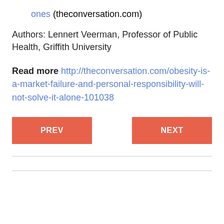ones (theconversation.com)
Authors: Lennert Veerman, Professor of Public Health, Griffith University
Read more http://theconversation.com/obesity-is-a-market-failure-and-personal-responsibility-will-not-solve-it-alone-101038